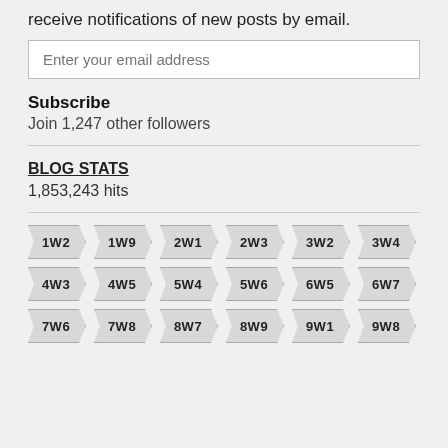receive notifications of new posts by email.
Enter your email address
Subscribe
Join 1,247 other followers
BLOG STATS
1,853,243 hits
1W2
1W9
2W1
2W3
3W2
3W4
4W3
4W5
5W4
5W6
6W5
6W7
7W6
7W8
8W7
8W9
9W1
9W8